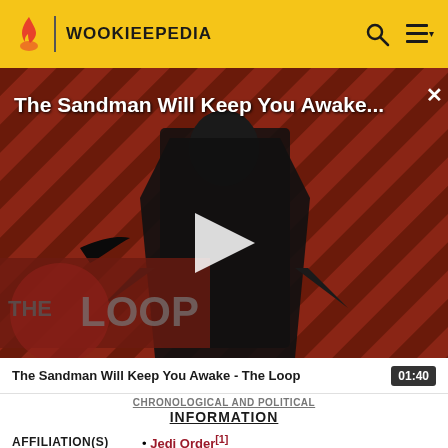WOOKIEEPEDIA
[Figure (screenshot): Video thumbnail for 'The Sandman Will Keep You Awake...' featuring a figure in black against a striped red/brown background with 'THE LOOP' text overlay and a play button]
The Sandman Will Keep You Awake - The Loop  01:40
CHRONOLOGICAL AND POLITICAL INFORMATION
INFORMATION
AFFILIATION(S)  • Jedi Order[1]